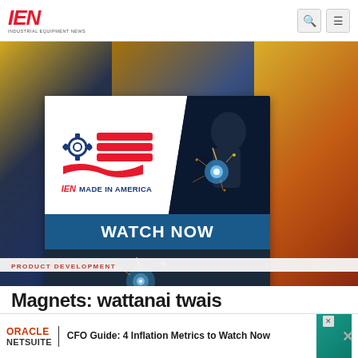IEN INDUSTRIAL EQUIPMENT NEWS
[Figure (advertisement): IEN Made in America promotional card with gear-and-flag logo, welding photo, and WATCH NOW button, overlaid on blurred industrial background of blue nuts/bolts and yellow/red components]
PRODUCT DEVELOPMENT
Magnets: wattanai twais
[Figure (advertisement): Oracle NetSuite banner ad: CFO Guide: 4 Inflation Metrics to Watch Now, with teal graphic on right and close buttons]